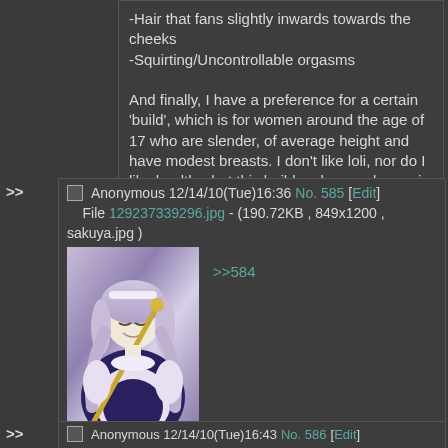-Hair that fans slightly inwards towards the cheeks
-Squirting/Uncontrollable orgasms

And finally, I have a preference for a certain 'build', which is for women around the age of 17 who are slender, of average height and have modest breasts. I don't like loli, nor do I like healthy, but this build makes me happy in my pants. Think Kanako Urashima (pictured), or Sakuya Izayoi (below).
Anonymous 12/14/10(Tue)16:36 No. 585 [Edit]
File 129237339296.jpg - (190.72KB , 849x1200 , sakuya.jpg )
[Figure (illustration): Anime illustration of Sakuya Izayoi, a maid character with silver/purple hair holding a staff, wearing a maid outfit]
>>584